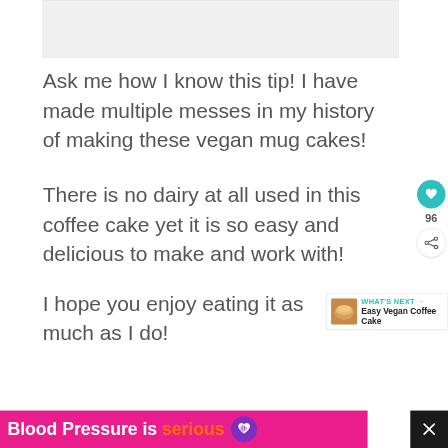[Figure (photo): Top image placeholder area (food/cake image partially visible)]
Ask me how I know this tip! I have made multiple messes in my history of making these vegan mug cakes!
There is no dairy at all used in this coffee cake yet it is so easy and delicious to make and work with!
I hope you enjoy eating it as much as I do!
[Figure (infographic): Side floating buttons: heart/like button with teal circle showing count 96, and share button below]
[Figure (infographic): What's Next banner showing Easy Vegan Coffee Cake with thumbnail image and arrow]
[Figure (infographic): Bottom pink ad banner reading 'Blood Pressure is serious' with purple heart icon, and black close button with X]